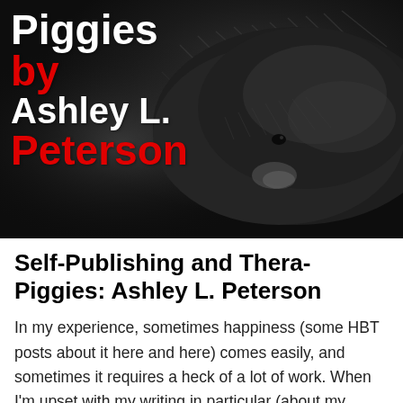[Figure (photo): Book cover photo showing a dark/black fluffy guinea pig being held. Text overlay shows 'Piggies by Ashley L. Peterson' with 'by' and 'Peterson' in red, rest in white bold text.]
Self-Publishing and Thera-Piggies: Ashley L. Peterson
In my experience, sometimes happiness (some HBT posts about it here and here) comes easily, and sometimes it requires a heck of a lot of work. When I'm upset with my writing in particular (about my books here), I take heart from seeing what publishing rock stars like Ashley L.